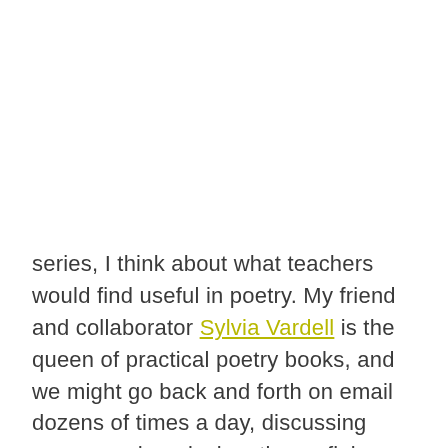series, I think about what teachers would find useful in poetry. My friend and collaborator Sylvia Vardell is the queen of practical poetry books, and we might go back and forth on email dozens of times a day, discussing poems and curriculum tips, refining our approach to make it more useful to teachers. (A hint about our next book: STEM!)